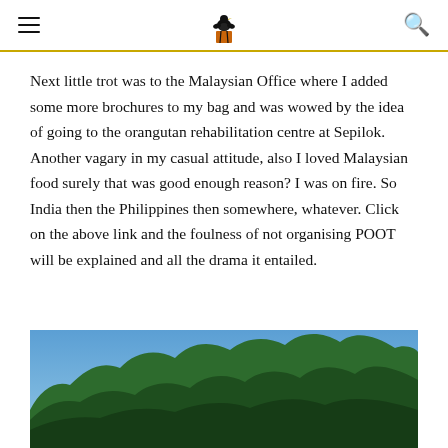≡ [logo bird illustration] 🔍
Next little trot was to the Malaysian Office where I added some more brochures to my bag and was wowed by the idea of going to the orangutan rehabilitation centre at Sepilok. Another vagary in my casual attitude, also I loved Malaysian food surely that was good enough reason? I was on fire. So India then the Philippines then somewhere, whatever. Click on the above link and the foulness of not organising POOT will be explained and all the drama it entailed.
[Figure (photo): Photograph showing tree silhouettes with green foliage against a blue sky, viewed from below.]